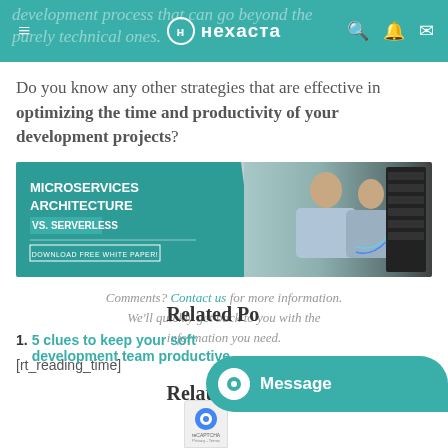нехаста
Do you know any other strategies that are effective in optimizing the time and productivity of your development projects?
[Figure (illustration): Banner ad for 'Microservices Architecture VS. Serverless' white paper download, showing two technicians working on server racks]
Comments? Contact us for more information. We'll quickly get back to you with the information you need.
[rt_reading_time]
Related Posts
5 clues to keep your software development team productive